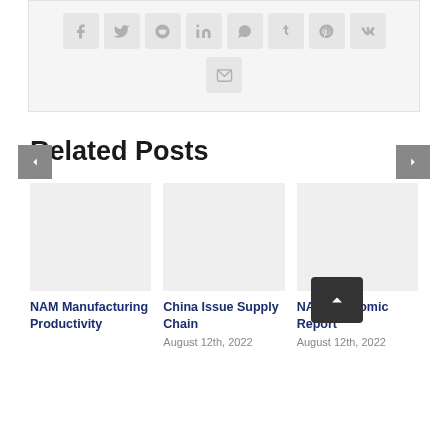[Figure (other): Social share bar with icons for Facebook, Twitter, Reddit, LinkedIn, WhatsApp, Tumblr, Pinterest, VK, and Email]
Related Posts
[Figure (other): Post card image placeholder for NAM Manufacturing Productivity Report]
NAM Manufacturing Productivity Report
[Figure (other): Post card image placeholder for China Issue Supply Chain]
China Issue Supply Chain
August 12th, 2022
[Figure (other): Post card image placeholder for NAM Economic Report]
NAM Economic Report
August 12th, 2022